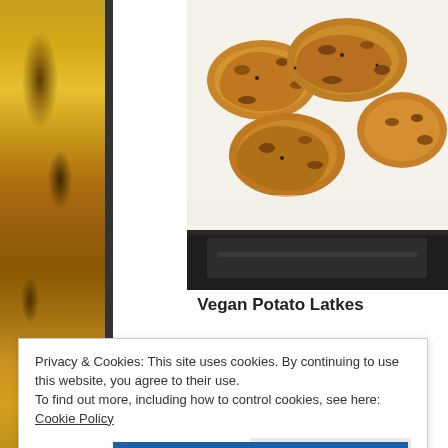[Figure (photo): Yellow bananas photo strip on the left side of the page]
[Figure (photo): Photo of vegan potato latkes (golden-brown fried potato pancakes) on a white paper towel, with a dark pan visible below]
Vegan Potato Latkes
Privacy & Cookies: This site uses cookies. By continuing to use this website, you agree to their use.
To find out more, including how to control cookies, see here: Cookie Policy
Close and accept